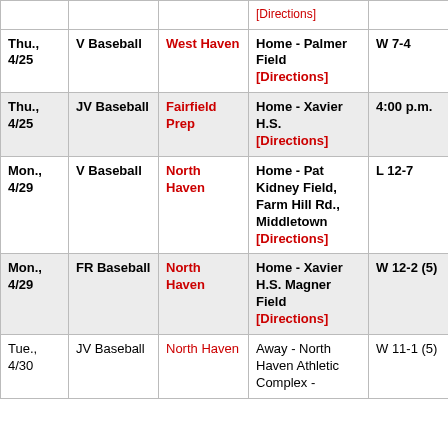| Date | Sport | Opponent | Location | Result/Time |
| --- | --- | --- | --- | --- |
|  |  |  | [Directions] |  |
| Thu., 4/25 | V Baseball | West Haven | Home - Palmer Field [Directions] | W 7-4 |
| Thu., 4/25 | JV Baseball | Fairfield Prep | Home - Xavier H.S. [Directions] | 4:00 p.m. |
| Mon., 4/29 | V Baseball | North Haven | Home - Pat Kidney Field, Farm Hill Rd., Middletown [Directions] | L 12-7 |
| Mon., 4/29 | FR Baseball | North Haven | Home - Xavier H.S. Magner Field [Directions] | W 12-2 (5) |
| Tue., 4/30 | JV Baseball | North Haven | Away - North Haven Athletic Complex - | W 11-1 (5) |